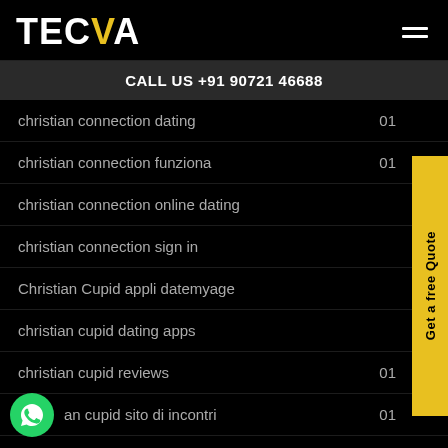TECVA
CALL US +91 90721 46688
christian connection dating  01
christian connection funziona  01
christian connection online dating
christian connection sign in
Christian Cupid appli datemyage
christian cupid dating apps
christian cupid reviews  01
christian cupid sito di incontri  01
Christian Dating reviews  01